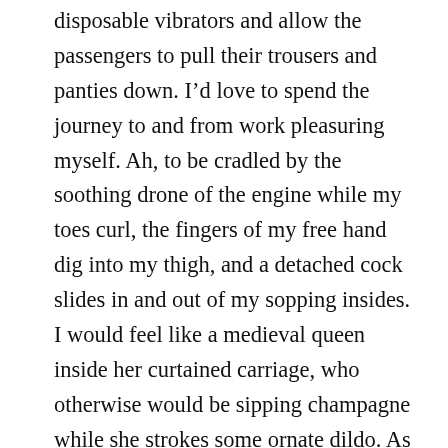disposable vibrators and allow the passengers to pull their trousers and panties down. I’d love to spend the journey to and from work pleasuring myself. Ah, to be cradled by the soothing drone of the engine while my toes curl, the fingers of my free hand dig into my thigh, and a detached cock slides in and out of my sopping insides. I would feel like a medieval queen inside her curtained carriage, who otherwise would be sipping champagne while she strokes some ornate dildo. As I fucked myself, my sticky juice would soak into the seat beneath me; a gesture of gratitude that would mix with the stale remains of what hundreds of previous users leaked. It would become a communal ritual like those walls covered in chewing gum, or that fence where couples hang locks to symbolize their commitment to